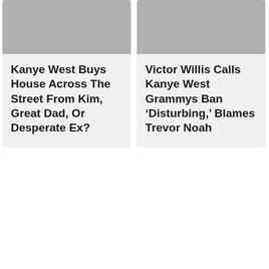[Figure (photo): Photo of people at an event, partially cropped at top]
Kanye West Buys House Across The Street From Kim, Great Dad, Or Desperate Ex?
[Figure (photo): Photo of a person at an event, partially cropped at top]
Victor Willis Calls Kanye West Grammys Ban ‘Disturbing,’ Blames Trevor Noah